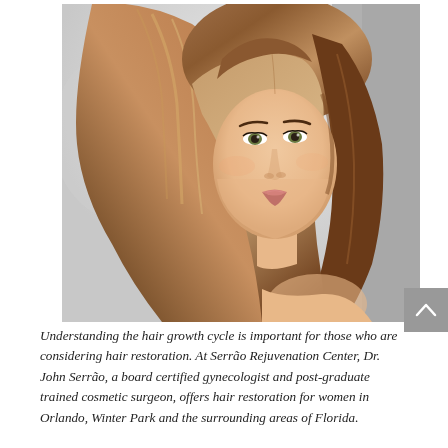[Figure (photo): A woman with long, shiny, straight brown hair shown from behind and turning her face toward the camera, smiling. The background is a soft light grey. The image is associated with hair restoration and hair growth cycle content.]
Understanding the hair growth cycle is important for those who are considering hair restoration. At Serrão Rejuvenation Center, Dr. John Serrão, a board certified gynecologist and post-graduate trained cosmetic surgeon, offers hair restoration for women in Orlando, Winter Park and the surrounding areas of Florida.